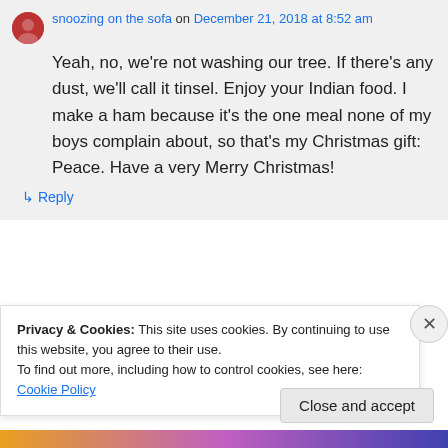[Figure (illustration): Small circular avatar photo of a person]
snoozing on the sofa on December 21, 2018 at 8:52 am
Yeah, no, we're not washing our tree. If there's any dust, we'll call it tinsel. Enjoy your Indian food. I make a ham because it's the one meal none of my boys complain about, so that's my Christmas gift: Peace. Have a very Merry Christmas!
↳ Reply
Privacy & Cookies: This site uses cookies. By continuing to use this website, you agree to their use.
To find out more, including how to control cookies, see here: Cookie Policy
Close and accept